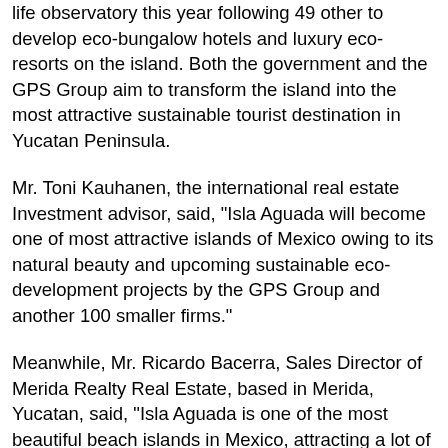life observatory this year following 49 other to develop eco-bungalow hotels and luxury eco-resorts on the island. Both the government and the GPS Group aim to transform the island into the most attractive sustainable tourist destination in Yucatan Peninsula.
Mr. Toni Kauhanen, the international real estate Investment advisor, said, "Isla Aguada will become one of most attractive islands of Mexico owing to its natural beauty and upcoming sustainable eco-development projects by the GPS Group and another 100 smaller firms."
Meanwhile, Mr. Ricardo Bacerra, Sales Director of Merida Realty Real Estate, based in Merida, Yucatan, said, "Isla Aguada is one of the most beautiful beach islands in Mexico, attracting a lot of national and international tourists